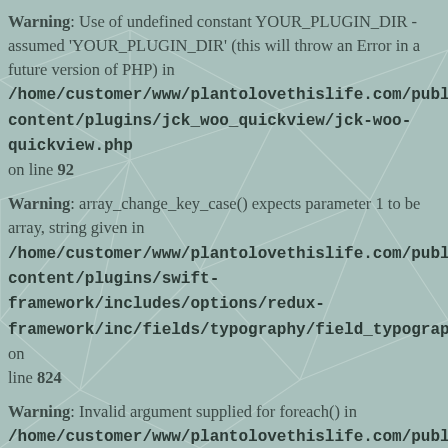Warning: Use of undefined constant YOUR_PLUGIN_DIR - assumed 'YOUR_PLUGIN_DIR' (this will throw an Error in a future version of PHP) in /home/customer/www/plantolovethislife.com/public_html/wp-content/plugins/jck_woo_quickview/jck-woo-quickview.php on line 92
Warning: array_change_key_case() expects parameter 1 to be array, string given in /home/customer/www/plantolovethislife.com/public_html/wp-content/plugins/swift-framework/includes/options/redux-framework/inc/fields/typography/field_typography.php on line 824
Warning: Invalid argument supplied for foreach() in /home/customer/www/plantolovethislife.com/public_html/wp-